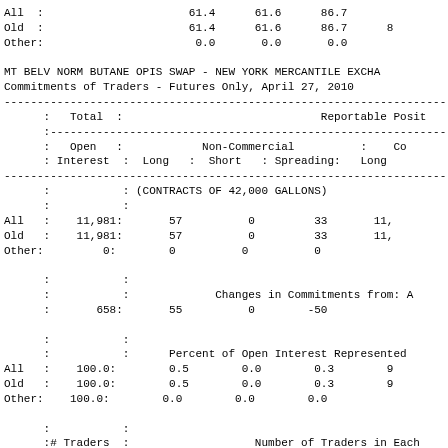| All  : | 61.4 | 61.6 | 86.7 |  |
| Old  : | 61.4 | 61.6 | 86.7 | 8 |
| Other: | 0.0 | 0.0 | 0.0 |  |
MT BELV NORM BUTANE OPIS SWAP - NEW YORK MERCANTILE EXCHA
Commitments of Traders - Futures Only, April 27, 2010
| : Total : |  | Reportable Posit |
| --- | --- | --- |
|  | Open | Non-Commercial | Co |
|  | Interest | Long : Short : Spreading: | Long |
|  |  | (CONTRACTS OF 42,000 GALLONS) |  |
| All : | 11,981: | 57 | 0 | 33 | 11, |
| Old : | 11,981: | 57 | 0 | 33 | 11, |
| Other: | 0: | 0 | 0 | 0 |  |
|  |  | Changes in Commitments from: A |  |
|  | 658: | 55 | 0 | -50 |  |
|  |  | Percent of Open Interest Represented |  |
| All : | 100.0: | 0.5 | 0.0 | 0.3 | 9 |
| Old : | 100.0: | 0.5 | 0.0 | 0.3 | 9 |
| Other: | 100.0: | 0.0 | 0.0 | 0.0 |  |
|  | # Traders : |  | Number of Traders in Each |  |
| All : | 26: | 1 | 0 | 1 |  |
| Old : | 26: | 1 | 0 | 1 |  |
| Other: | 0: | 0 | 0 | 0 |  |